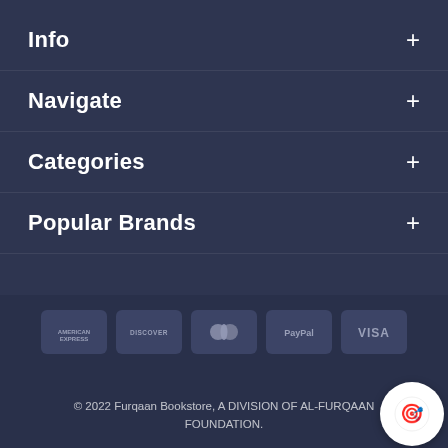Info
Navigate
Categories
Popular Brands
[Figure (other): Payment method icons: American Express, Discover, MasterCard, PayPal, Visa]
© 2022 Furqaan Bookstore, A DIVISION OF AL-FURQAAN FOUNDATION.